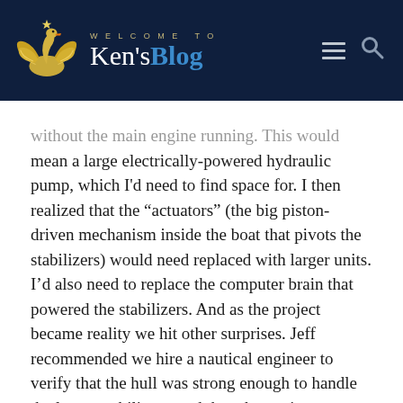WELCOME TO Ken'sBlog
without the main engine running. This would mean a large electrically-powered hydraulic pump, which I'd need to find space for. I then realized that the “actuators” (the big piston-driven mechanism inside the boat that pivots the stabilizers) would need replaced with larger units. I’d also need to replace the computer brain that powered the stabilizers. And as the project became reality we hit other surprises. Jeff recommended we hire a nautical engineer to verify that the hull was strong enough to handle the larger stabilizers, and then the engineer recommended beefing up the fiberglass.